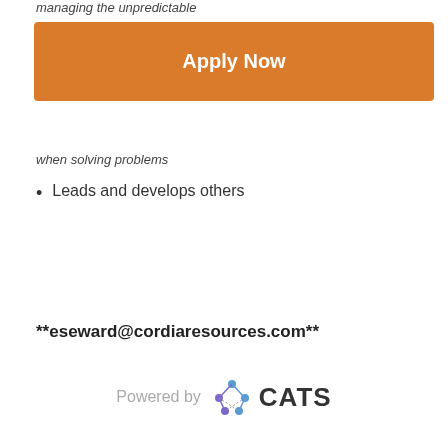managing the unpredictable
[Figure (other): Apply Now orange button]
when solving problems
Leads and develops others
**eseward@cordiaresources.com**
[Figure (logo): Powered by CATS logo]